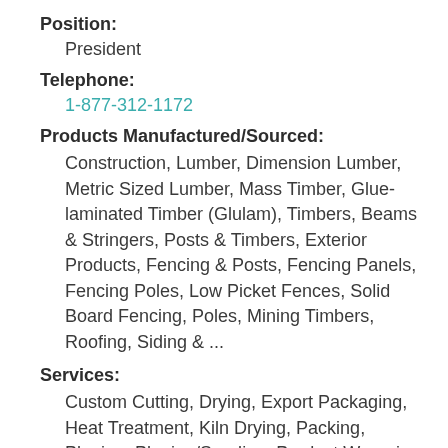Position:
President
Telephone:
1-877-312-1172
Products Manufactured/Sourced:
Construction, Lumber, Dimension Lumber, Metric Sized Lumber, Mass Timber, Glue-laminated Timber (Glulam), Timbers, Beams & Stringers, Posts & Timbers, Exterior Products, Fencing & Posts, Fencing Panels, Fencing Poles, Low Picket Fences, Solid Board Fencing, Poles, Mining Timbers, Roofing, Siding & ...
Services:
Custom Cutting, Drying, Export Packaging, Heat Treatment, Kiln Drying, Packing, Planing, Planing/Sanding, Product Wrapping, Re-sawing, Remanufacturing, Ripping, Rougher Heading, Sawing/Sizing, Single & Double Patterns,